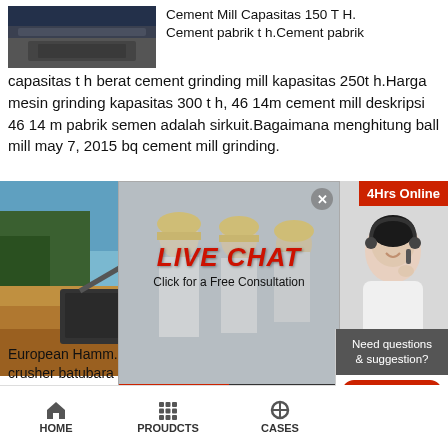[Figure (photo): Industrial machinery/cement mill equipment photo, top left]
Cement Mill Capasitas 150 T H. Cement pabrik t h.Cement pabrik capasitas t h berat cement grinding mill kapasitas 250t h.Harga mesin grinding kapasitas 300 t h, 46 14m cement mill deskripsi 46 14 m pabrik semen adalah sirkuit.Bagaimana menghitung ball mill may 7, 2015 bq cement mill grinding.
[Figure (photo): Live chat overlay with construction workers in hard hats and customer service representative]
[Figure (photo): Mining/excavation site with machinery and excavators]
Ton Per Jam Mills ...
European Hamm... capacity 260~310 h/T; harga crusher batubara ka...
HOME   PROUDCTS   CASES   limingjlmofen